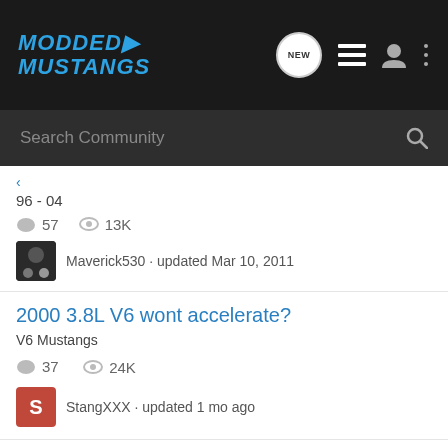MODDED MUSTANGS
Search Community
96 - 04
57 comments · 13K views
Maverick530 · updated Mar 10, 2011
2000 3.8L V6 wont accelerate?
V6 Mustangs
37 comments · 24K views
StangXXX · updated 1 mo ago
engine light on ....
96 - 04